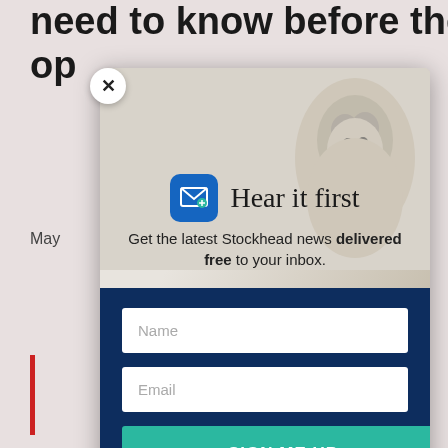need to know before the ASX op
May
[Figure (screenshot): Email newsletter subscription modal popup with 'Hear it first' headline, name and email input fields, and a 'SIGN ME UP' button on dark blue background. A groundhog/marmot image appears in the background of the top section.]
Hear it first
Get the latest Stockhead news delivered free to your inbox.
Name
Email
SIGN ME UP